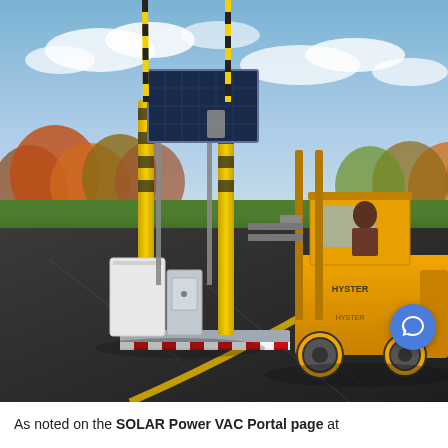[Figure (photo): Outdoor photo of a solar-powered VAC Portal security gate system on an airport tarmac, with yellow bollards, a solar panel on a metal frame, a white cabinet/enclosure at base, and red-and-white hazard striping on the base plate. A yellow Hyster forklift with an operator is positioned to the right, lifting or transporting the unit. Background shows trees with autumn foliage and a partly cloudy sky. A blue circular chat bubble icon is overlaid in the lower right corner of the image.]
As noted on the SOLAR Power VAC Portal page at